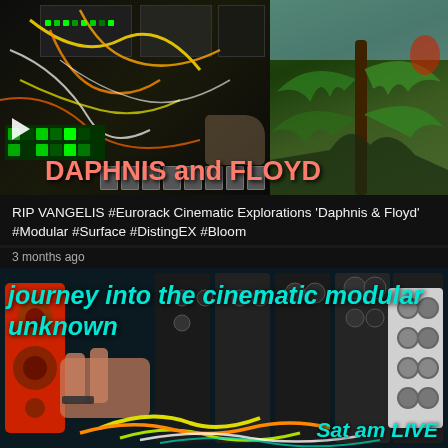[Figure (screenshot): Video thumbnail showing eurorack modular synthesizer with colorful cables on left, fern/nature scene on right, with 'DAPHNIS and FLOYD' text overlay in pink/red and a play button icon]
RIP VANGELIS #Eurorack Cinematic Explorations 'Daphnis & Floyd' #Modular #Surface #DistingEX #Bloom
3 months ago
[Figure (screenshot): Video thumbnail showing hands working with eurorack modular synthesizer with colorful patch cables, with 'journey into the cinematic modular unknown' text overlay in cyan/teal and 'Sat am LIVE' text in bottom right]